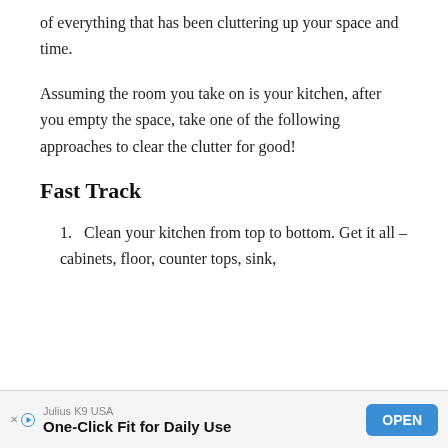of everything that has been cluttering up your space and time.
Assuming the room you take on is your kitchen, after you empty the space, take one of the following approaches to clear the clutter for good!
Fast Track
1. Clean your kitchen from top to bottom. Get it all – cabinets, floor, counter tops, sink,
[Figure (other): Advertisement banner: Julius K9 USA – One-Click Fit for Daily Use, with OPEN button]